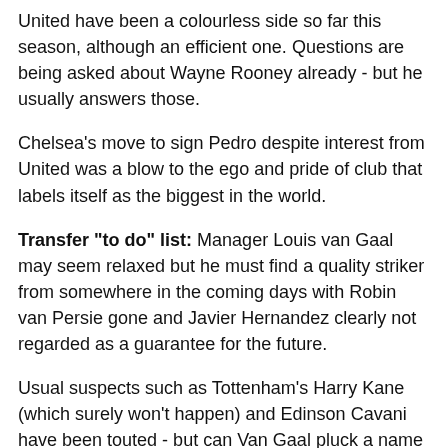United have been a colourless side so far this season, although an efficient one. Questions are being asked about Wayne Rooney already - but he usually answers those.
Chelsea's move to sign Pedro despite interest from United was a blow to the ego and pride of club that labels itself as the biggest in the world.
Transfer "to do" list: Manager Louis van Gaal may seem relaxed but he must find a quality striker from somewhere in the coming days with Robin van Persie gone and Javier Hernandez clearly not regarded as a guarantee for the future.
Usual suspects such as Tottenham's Harry Kane (which surely won't happen) and Edinson Cavani have been touted - but can Van Gaal pluck a name out of left field?
And is the situation of keeping the disaffected De Gea in the squad with theacement...